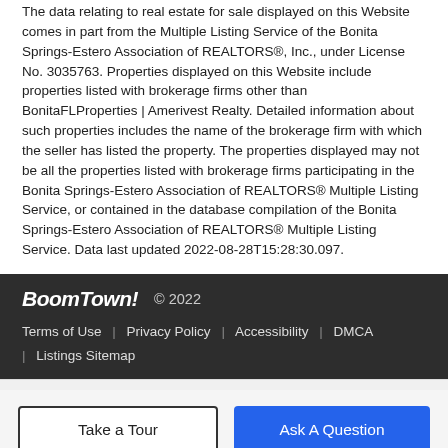The data relating to real estate for sale displayed on this Website comes in part from the Multiple Listing Service of the Bonita Springs-Estero Association of REALTORS®, Inc., under License No. 3035763. Properties displayed on this Website include properties listed with brokerage firms other than BonitaFLProperties | Amerivest Realty. Detailed information about such properties includes the name of the brokerage firm with which the seller has listed the property. The properties displayed may not be all the properties listed with brokerage firms participating in the Bonita Springs-Estero Association of REALTORS® Multiple Listing Service, or contained in the database compilation of the Bonita Springs-Estero Association of REALTORS® Multiple Listing Service. Data last updated 2022-08-28T15:28:30.097.
BoomTown! © 2022 | Terms of Use | Privacy Policy | Accessibility | DMCA | Listings Sitemap
Take a Tour | Ask A Question